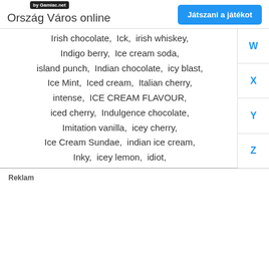by Gamiac.net
Ország Város online
Játszani a játékot
Irish chocolate,  Ick,  irish whiskey,  Indigo berry,  Ice cream soda,  island punch,  Indian chocolate,  icy blast,  Ice Mint,  Iced cream,  Italian cherry,  intense,  ICE CREAM FLAVOUR,  iced cherry,  Indulgence chocolate,  Imitation vanilla,  icey cherry,  Ice Cream Sundae,  indian ice cream,  Inky,  icey lemon,  idiot,
W
X
Y
Z
Reklam